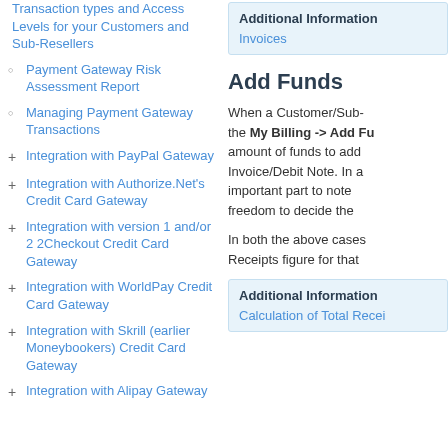Transaction types and Access Levels for your Customers and Sub-Resellers
Payment Gateway Risk Assessment Report
Managing Payment Gateway Transactions
Integration with PayPal Gateway
Integration with Authorize.Net's Credit Card Gateway
Integration with version 1 and/or 2 2Checkout Credit Card Gateway
Integration with WorldPay Credit Card Gateway
Integration with Skrill (earlier Moneybookers) Credit Card Gateway
Integration with Alipay Gateway
Additional Information
Invoices
Add Funds
When a Customer/Sub- the My Billing -> Add Fu amount of funds to add Invoice/Debit Note. In a important part to note freedom to decide the
In both the above cases Receipts figure for that
Additional Information
Calculation of Total Recei